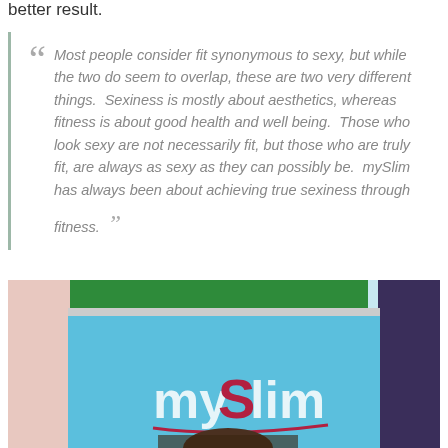better result.
Most people consider fit synonymous to sexy, but while the two do seem to overlap, these are two very different things. Sexiness is mostly about aesthetics, whereas fitness is about good health and well being. Those who look sexy are not necessarily fit, but those who are truly fit, are always as sexy as they can possibly be. mySlim has always been about achieving true sexiness through fitness.
[Figure (photo): Photo of a person standing in front of a light blue mySlim branded banner/roll-up display with the mySlim logo prominently shown in red and white text. Background includes green and dark purple/blue tones.]